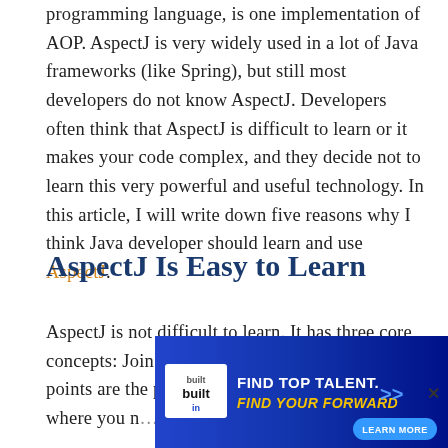programming language, is one implementation of AOP. AspectJ is very widely used in a lot of Java frameworks (like Spring), but still most developers do not know AspectJ. Developers often think that AspectJ is difficult to learn or it makes your code complex, and they decide not to learn this very powerful and useful technology. In this article, I will write down five reasons why I think Java developer should learn and use AspectJ.
AspectJ Is Easy to Learn
AspectJ is not difficult to learn. It has three core concepts: Join point, Pointcut, and Advice. Join points are the points in the execution of a program where you n... exam... od or
[Figure (other): Built In advertisement banner: 'FIND TOP TALENT. FIND YOUR FORWARD' with Learn More button and Built In logo on blue gradient background.]